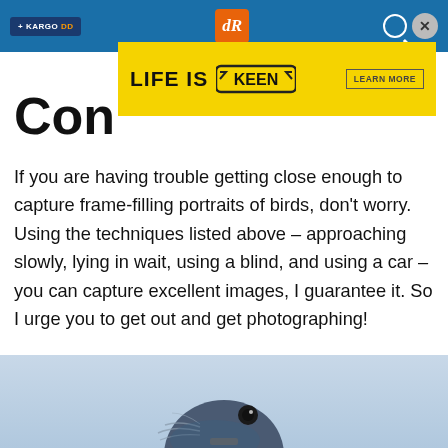+ KARGO | dR | [search] [close]
[Figure (screenshot): Yellow advertisement banner: LIFE IS [KEEN logo] LEARN MORE]
Con...
If you are having trouble getting close enough to capture frame-filling portraits of birds, don't worry. Using the techniques listed above – approaching slowly, lying in wait, using a blind, and using a car – you can capture excellent images, I guarantee it. So I urge you to get out and get photographing!
[Figure (photo): Close-up photo of a bird's head (appears to be a pigeon or dove) against a light blue-grey background]